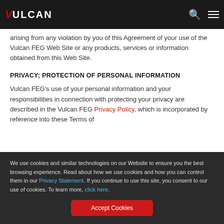Vulcan — navigation bar with logo, search icon, and menu icon
arising from any violation by you of this Agreement of your use of the Vulcan FEG Web Site or any products, services or information obtained from this Web Site.
PRIVACY; PROTECTION OF PERSONAL INFORMATION
Vulcan FEG's use of your personal information and your responsibilities in connection with protecting your privacy are described in the Vulcan FEG Privacy Policy, which is incorporated by reference into these Terms of
We use cookies and similar technologies on our Website to ensure you the best browsing experience. Read about how we use cookies and how you can control them in our Privacy Statement. If you continue to use this site, you consent to our use of cookies. To learn more, click here.
Accept Cookies